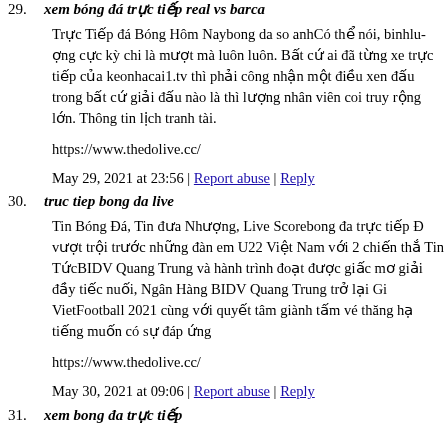29. xem bóng đá trực tiếp real vs barca
Trực Tiếp đá Bóng Hôm Naybong da so anhCó thể nói, binhluợng cực kỳ chi là mượt mà luôn luôn. Bất cứ ai đã từng xe trực tiếp của keonhacai1.tv thì phải công nhận một điều xen đấu trong bất cứ giải đấu nào là thì lượng nhân viên coi truy rộng lớn. Thông tin lịch tranh tài.
https://www.thedolive.cc/
May 29, 2021 at 23:56 | Report abuse | Reply
30. truc tiep bong da live
Tin Bóng Đá, Tin đưa Nhượng, Live Scorebong đa trực tiếp Đ vượt trội trước những đàn em U22 Việt Nam với 2 chiến thắ Tin TứcBIDV Quang Trung và hành trình đoạt được giấc mơ giải đầy tiếc nuối, Ngân Hàng BIDV Quang Trung trở lại Gi VietFootball 2021 cùng với quyết tâm giành tấm vé thăng hạ tiếng muốn có sự đáp ứng
https://www.thedolive.cc/
May 30, 2021 at 09:06 | Report abuse | Reply
31. xem bong đa trực tiếp